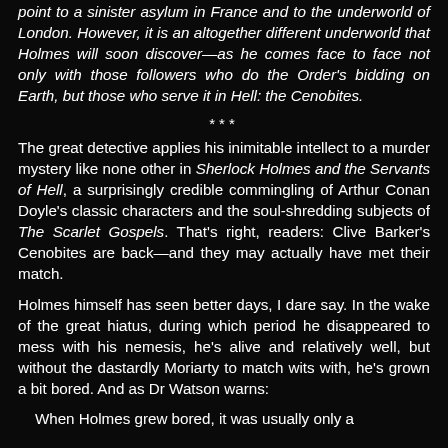point to a sinister asylum in France and to the underworld of London. However, it is an altogether different underworld that Holmes will soon discover—as he comes face to face not only with those followers who do the Order's bidding on Earth, but those who serve it in Hell: the Cenobites.
***
The great detective applies his inimitable intellect to a murder mystery like none other in Sherlock Holmes and the Servants of Hell, a surprisingly credible commingling of Arthur Conan Doyle's classic characters and the soul-shredding subjects of The Scarlet Gospels. That's right, readers: Clive Barker's Cenobites are back—and they may actually have met their match.
Holmes himself has seen better days, I dare say. In the wake of the great hiatus, during which period he disappeared to mess with his nemesis, he's alive and relatively well, but without the dastardly Moriarty to match wits with, he's grown a bit bored. And as Dr Watson warns:
When Holmes grew bored, it was usually only a...